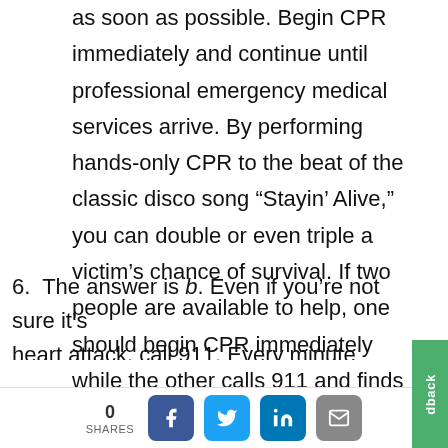as soon as possible. Begin CPR immediately and continue until professional emergency medical services arrive. By performing hands-only CPR to the beat of the classic disco song “Stayin’ Alive,” you can double or even triple a victim’s chance of survival. If two people are available to help, one should begin CPR immediately while the other calls 911 and finds an AED.
6. The answer is b. Even if you’re not sure it’s a heart attack, call 911. Every minute counts
0 SHARES [Facebook] [Twitter] [LinkedIn] [Email]